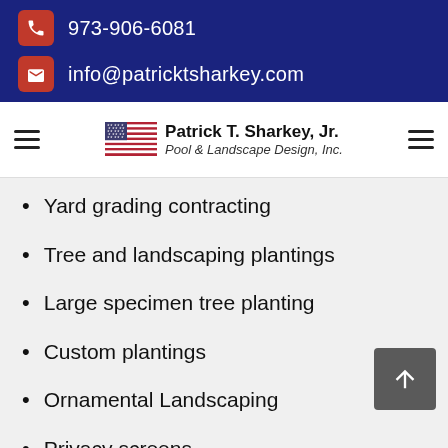973-906-6081
info@patricktsharkey.com
[Figure (logo): Patrick T. Sharkey, Jr. Pool & Landscape Design, Inc. logo with American flag]
Yard grading contracting
Tree and landscaping plantings
Large specimen tree planting
Custom plantings
Ornamental Landscaping
Privacy screens
Fences
Shrub installation